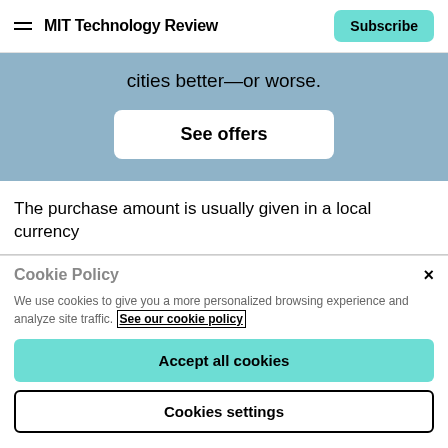MIT Technology Review | Subscribe
[Figure (screenshot): Blue promo banner with partial text 'cities better—or worse.' and a 'See offers' button on white rounded rectangle]
The purchase amount is usually given in a local currency
Cookie Policy
We use cookies to give you a more personalized browsing experience and analyze site traffic. See our cookie policy
Accept all cookies
Cookies settings